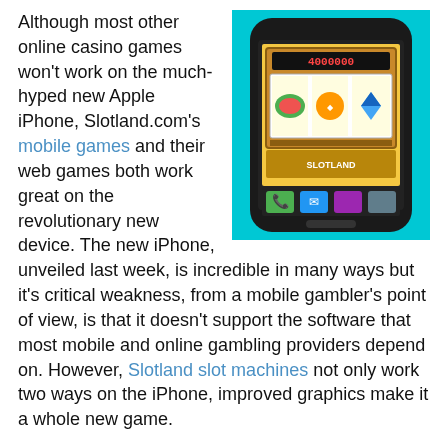[Figure (photo): A smartphone (iPhone-style) displayed at an angle against a cyan/turquoise background, with a slot machine game showing on its screen featuring fruit symbols (watermelon, gems, oranges). The phone has a white border/frame.]
Although most other online casino games won't work on the much-hyped new Apple iPhone, Slotland.com's mobile games and their web games both work great on the revolutionary new device. The new iPhone, unveiled last week, is incredible in many ways but it's critical weakness, from a mobile gambler's point of view, is that it doesn't support the software that most mobile and online gambling providers depend on. However, Slotland slot machines not only work two ways on the iPhone, improved graphics make it a whole new game.
Unfortunately, being from Apple, the iPhone is designed so you can only use the Apple applications provided. Users won't be able to just download and install their choice of games. That may suck – but at least the iPhone has a fantastic web browser, so you can just play casino games at online casinos that have Flash games, right? Wrong – iPhone doesn't support Flash...